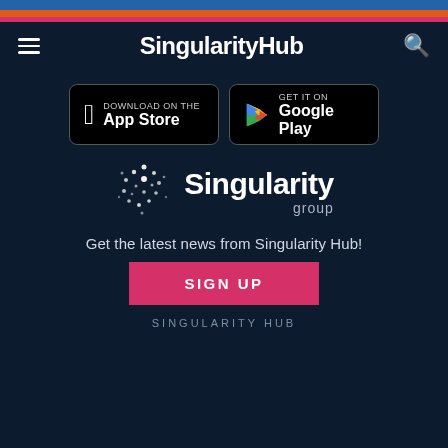[Figure (screenshot): Colored stripe bar at top: blue, orange, pink stripes]
SingularityHub
[Figure (logo): App Store and Google Play download badge buttons]
[Figure (logo): Singularity Group logo with dot-pattern icon and text]
Get the latest news from Singularity Hub!
SIGN UP
SINGULARITY HUB